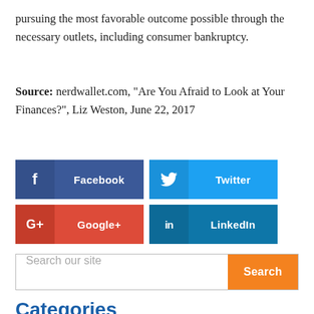pursuing the most favorable outcome possible through the necessary outlets, including consumer bankruptcy.
Source: nerdwallet.com, “Are You Afraid to Look at Your Finances?”, Liz Weston, June 22, 2017
[Figure (other): Social sharing buttons for Facebook, Twitter, Google+, and LinkedIn]
Search our site
Categories